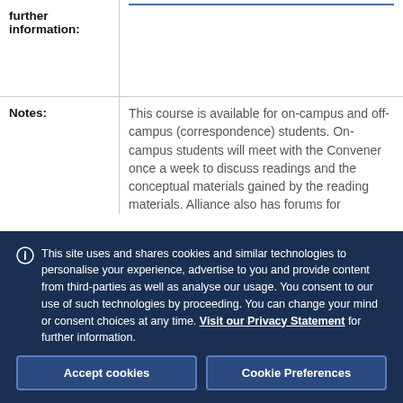| Field | Content |
| --- | --- |
| further information: |  |
| Notes: | This course is available for on-campus and off-campus (correspondence) students. On-campus students will meet with the Convener once a week to discuss readings and the conceptual materials gained by the reading materials. Alliance also has forums for |
This site uses and shares cookies and similar technologies to personalise your experience, advertise to you and provide content from third-parties as well as analyse our usage. You consent to our use of such technologies by proceeding. You can change your mind or consent choices at any time. Visit our Privacy Statement for further information.